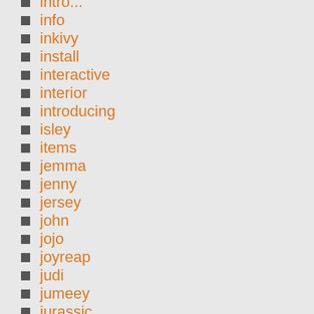intro...
info
inkivy
install
interactive
interior
introducing
isley
items
jemma
jenny
jersey
john
jojo
joyreap
judi
jumeey
jurassic
justice
kids
lake
lambs
land
latest